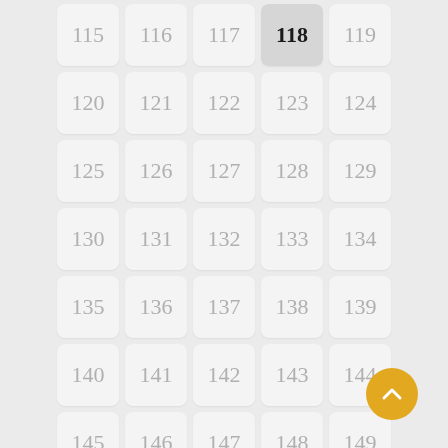[Figure (other): A scrollable numbered grid UI showing cells numbered 115 through 169, with cell 118 highlighted as the active/selected item. A gold circular FAB (floating action button) with an up-arrow chevron is visible in the lower right.]